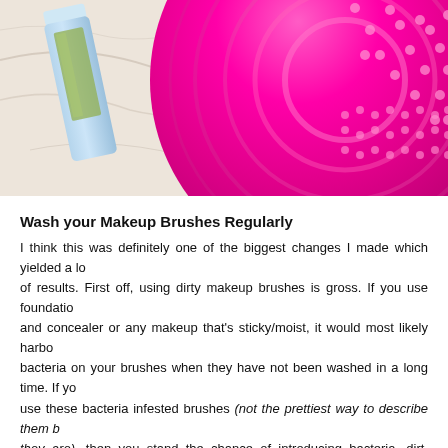[Figure (photo): Photo of a pink silicone makeup brush cleaner disc and a blue/green serum bottle on a marble surface]
Wash your Makeup Brushes Regularly
I think this was definitely one of the biggest changes I made which yielded a lot of results. First off, using dirty makeup brushes is gross. If you use foundation and concealer or any makeup that's sticky/moist, it would most likely harbour bacteria on your brushes when they have not been washed in a long time. If you use these bacteria infested brushes (not the prettiest way to describe them but they are), then you stand the chance of introducing bacteria, dirt, grime, etc to your skin. This may cause clogged pores which may result in breakouts/spots/acne. I know that's a long stretch but there is a high possibility. I know many people who have used the same unwashed brushes for their makeup who still have amazing skin; I honestly don't know how they do it. Regardless, it always feels good to use fresh and clean makeup brushes. I wash mine every Sunday (or worst case every other Sunday) and I have come to enjoy the process. Nothing beats the feeling of using clean brushes to apply my makeup. In between my wash day, I use a brush cleaner to wipe off any exce